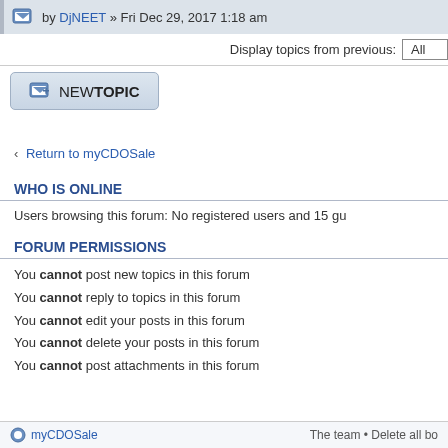by DjNEET » Fri Dec 29, 2017 1:18 am
Display topics from previous: All
[Figure (other): NEW TOPIC button with forum post icon]
Return to myCDOSale
WHO IS ONLINE
Users browsing this forum: No registered users and 15 gu
FORUM PERMISSIONS
You cannot post new topics in this forum
You cannot reply to topics in this forum
You cannot edit your posts in this forum
You cannot delete your posts in this forum
You cannot post attachments in this forum
myCDOSale  The team • Delete all bo